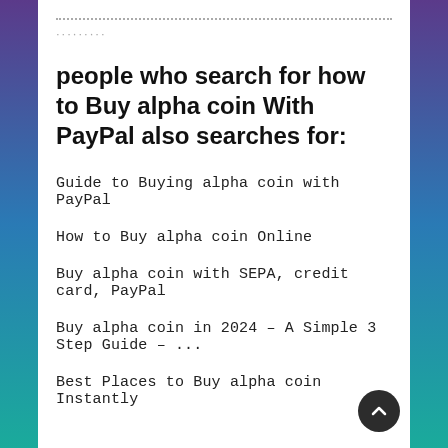..............................................................................
..........
people who search for how to Buy alpha coin With PayPal also searches for:
Guide to Buying alpha coin with PayPal
How to Buy alpha coin Online
Buy alpha coin with SEPA, credit card, PayPal
Buy alpha coin in 2024 – A Simple 3 Step Guide – ...
Best Places to Buy alpha coin Instantly